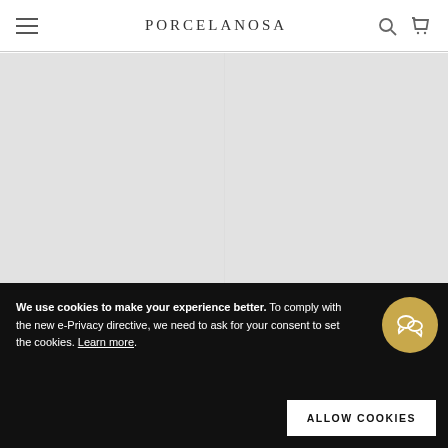PORCELANOSA
[Figure (photo): Product image placeholder for Nantes Caliza 59.6X59.6 tile]
Nantes Caliza 59.6X59.6
[Figure (photo): Product image placeholder for Nantes Caliza 120X120 tile]
Nantes Caliza 120X120
We use cookies to make your experience better. To comply with the new e-Privacy directive, we need to ask for your consent to set the cookies. Learn more.